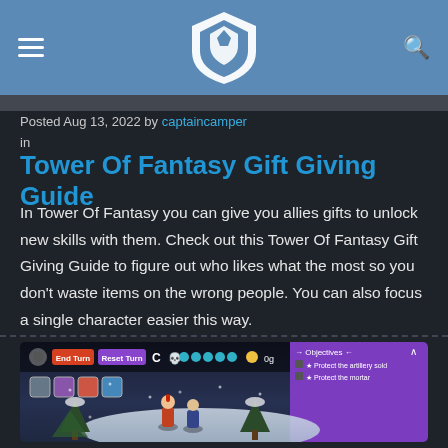Tower Of Fantasy Gift Giving Guide - CaptainCamper
Posted Aug 13, 2022 by captaincamper in
Tower Of Fantasy Gift Giving Guide
In Tower Of Fantasy you can give you allies gifts to unlock new skills with them. Check out this Tower Of Fantasy Gift Giving Guide to figure out who likes what the most so you don't waste items on the wrong people. You can also focus a single character easier this way.
[Figure (screenshot): Screenshot of a game UI showing an isometric snowy battlefield with UI elements: End Turn and Reset Turn buttons, turn indicator, character portraits at bottom left, coin counter showing 0g, and an Objectives panel on the right listing 'Protect the artillery sold' and 'Protect the mortar'. Characters visible on the snowy map with trees.]